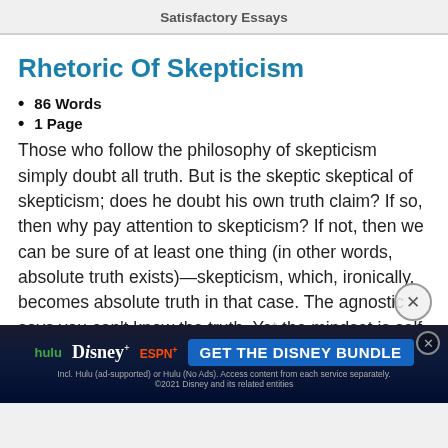Satisfactory Essays
Rhetoric Of Skepticism
86 Words
1 Page
Those who follow the philosophy of skepticism simply doubt all truth. But is the skeptic skeptical of skepticism; does he doubt his own truth claim? If so, then why pay attention to skepticism? If not, then we can be sure of at least one thing (in other words, absolute truth exists)—skepticism, which, ironically, becomes absolute truth in that case. The agnostic says you can't know the truth. Yet the mindset is self-defeating because it claims to know at least one truth: that you can't know truth.
[Figure (screenshot): Disney Bundle advertisement banner with Hulu, Disney+, ESPN+ logos and 'GET THE DISNEY BUNDLE' call-to-action button]